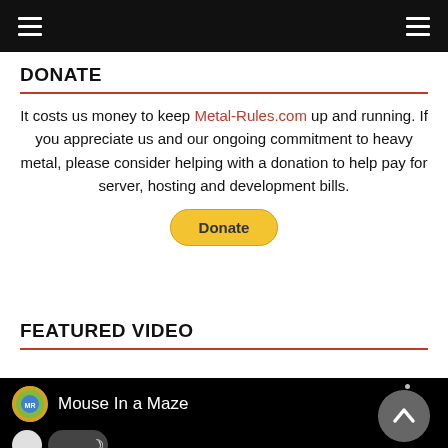DONATE
It costs us money to keep Metal-Rules.com up and running. If you appreciate us and our ongoing commitment to heavy metal, please consider helping with a donation to help pay for server, hosting and development bills.
[Figure (other): PayPal Donate button with yellow rounded rectangle and bold Donate text]
FEATURED VIDEO
[Figure (screenshot): YouTube-style video player showing channel thumbnail, title 'Mouse In a Maze', dark mode toggle controls, and up-arrow navigation button on black background]